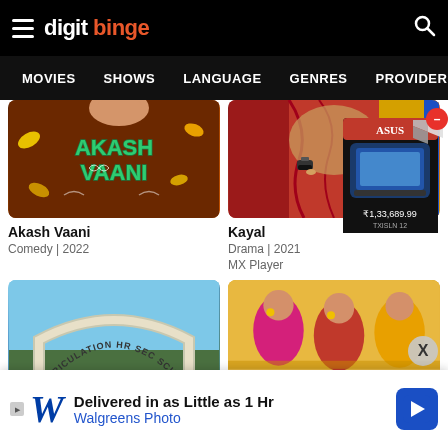digit binge
MOVIES   SHOWS   LANGUAGE   GENRES   PROVIDERS   LATE
[Figure (photo): Akash Vaani movie thumbnail with stylized 3D text logo on brown brick background with autumn leaves]
Akash Vaani
Comedy | 2022
[Figure (photo): Kayal movie thumbnail showing woman in magenta/pink saree with arms crossed]
Kayal
Drama | 2021
MX Player
[Figure (photo): Bottom left thumbnail showing a school arch with text TRICULATION HR SEC SCHOOL]
[Figure (photo): Bottom right thumbnail partially obscured by product advertisement showing women in sarees]
[Figure (photo): Product advertisement box overlay showing a laptop in a box, price ₹1,33,689.99]
[Figure (photo): Walgreens Photo advertisement banner - Delivered in as Little as 1 Hr]